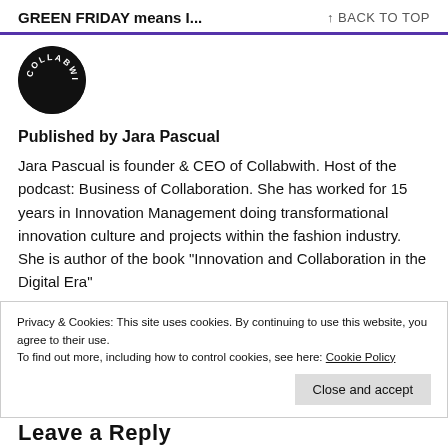GREEN FRIDAY means I...    ↑ BACK TO TOP
[Figure (logo): Round black circle logo with white text 'COLLABWITH' arranged in an arc]
Published by Jara Pascual
Jara Pascual is founder & CEO of Collabwith. Host of the podcast: Business of Collaboration. She has worked for 15 years in Innovation Management doing transformational innovation culture and projects within the fashion industry. She is author of the book "Innovation and Collaboration in the Digital Era"
Privacy & Cookies: This site uses cookies. By continuing to use this website, you agree to their use.
To find out more, including how to control cookies, see here: Cookie Policy
Close and accept
Leave a Reply